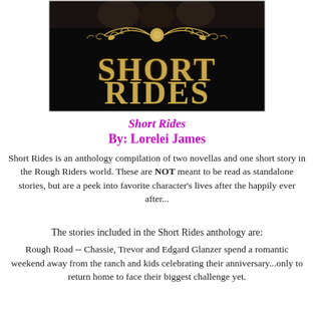[Figure (illustration): Book cover image for 'Short Rides' showing a dark/black background with ornate golden floral filigree and a rose design at top, and large western-style gold lettering spelling 'SHORT RIDES' below.]
Short Rides
By: Lorelei James
Short Rides is an anthology compilation of two novellas and one short story in the Rough Riders world. These are NOT meant to be read as standalone stories, but are a peek into favorite character's lives after the happily ever after...
The stories included in the Short Rides anthology are:
Rough Road -- Chassie, Trevor and Edgard Glanzer spend a romantic weekend away from the ranch and kids celebrating their anniversary...only to return home to face their biggest challenge yet.